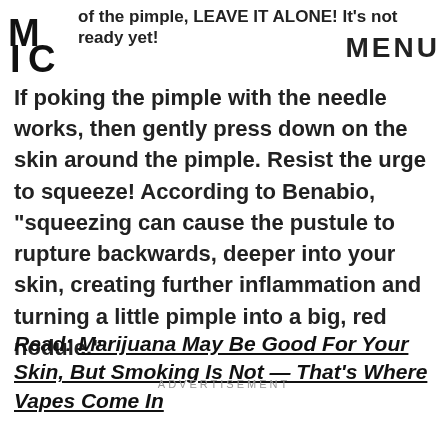of the pimple, LEAVE IT ALONE! It's not ready yet! MENU
If poking the pimple with the needle works, then gently press down on the skin around the pimple. Resist the urge to squeeze! According to Benabio, "squeezing can cause the pustule to rupture backwards, deeper into your skin, creating further inflammation and turning a little pimple into a big, red nodule."
Read: Marijuana May Be Good For Your Skin, But Smoking Is Not — That's Where Vapes Come In
ADVERTISEMENT